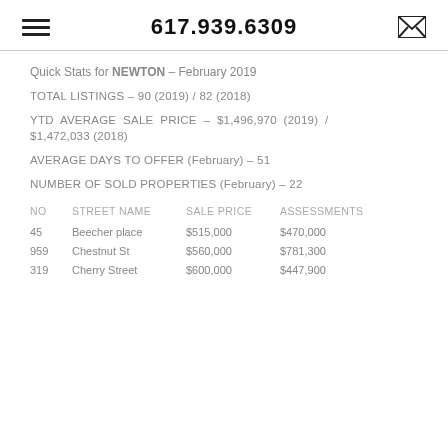617.939.6309
Quick Stats for NEWTON – February 2019
TOTAL LISTINGS – 90 (2019) / 82 (2018)
YTD AVERAGE SALE PRICE – $1,496,970 (2019) / $1,472,033 (2018)
AVERAGE DAYS TO OFFER (February) – 51
NUMBER OF SOLD PROPERTIES (February) – 22
| NO | STREET NAME | SALE PRICE | ASSESSMENTS |
| --- | --- | --- | --- |
| 45 | Beecher place | $515,000 | $470,000 |
| 959 | Chestnut St | $560,000 | $781,300 |
| 319 | Cherry Street | $600,000 | $447,900 |